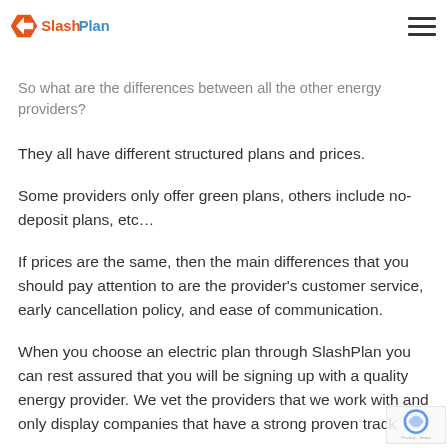SlashPlan logo and navigation menu
delivers electricity to you.
So what are the differences between all the other energy providers?
They all have different structured plans and prices.
Some providers only offer green plans, others include no-deposit plans, etc…
If prices are the same, then the main differences that you should pay attention to are the provider's customer service, early cancellation policy, and ease of communication.
When you choose an electric plan through SlashPlan you can rest assured that you will be signing up with a quality energy provider. We vet the providers that we work with and only display companies that have a strong proven track